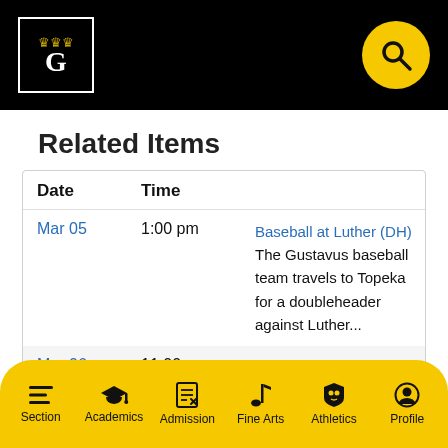[Figure (logo): Gustavus Adolphus College logo with G and crowns in a bordered box, on black header background with yellow search icon]
Related Items
| Date | Time |  |
| --- | --- | --- |
| Mar 05 | 1:00 pm | Baseball at Luther (DH) The Gustavus baseball team travels to Topeka for a doubleheader against Luther... |
| Mar 06 | 11:00 am | Baseball at Simpson The Gustavus baseball team travels to Topeka for a doubleheader |
| Mar 13 | 1:00 pm | Baseball at Wartburg (DH) The |
[Figure (screenshot): Bottom navigation bar with icons: Section, Academics, Admission, Fine Arts, Athletics, Profile]